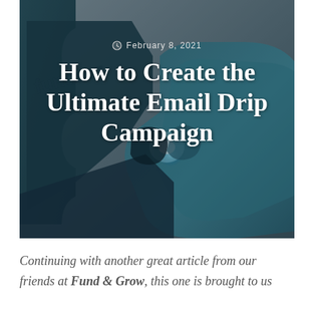[Figure (photo): Close-up 3D render of teal/dark metallic puzzle pieces or gear-like interlocking shapes with the word 'funding' embossed, with a glowing blue light effect at the connection point. Dark grey background.]
February 8, 2021
How to Create the Ultimate Email Drip Campaign
Continuing with another great article from our friends at Fund & Grow, this one is brought to us